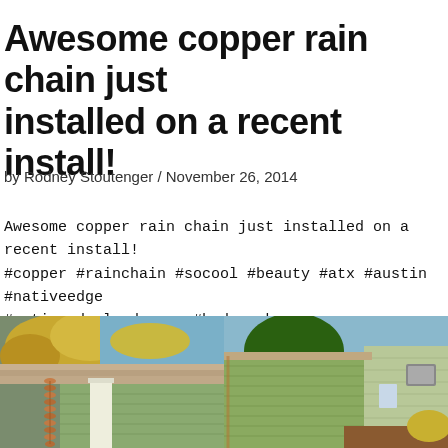Awesome copper rain chain just installed on a recent install!
by Rodney Stoutenger / November 26, 2014
Awesome copper rain chain just installed on a recent install! #copper #rainchain #socool #beauty #atx #austin #nativeedge #nativeedgelandscape #hydepark
[Figure (photo): Two photographs side by side: left photo shows a copper rain chain hanging from a roof gutter near a white pillar with green siding and autumn trees in background; right photo shows a green-sided house with trees and another building visible.]